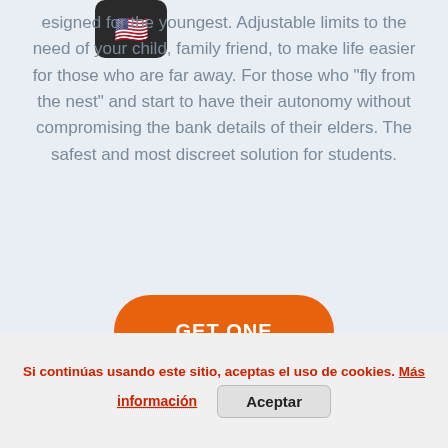[Figure (other): US flag emoji icon inside a dark rounded rectangle box in the top-left area]
esigned for the youngest. Adjustable limits to the need of your child, family friend, to make life easier for those who are far away. For those who "fly from the nest" and start to have their autonomy without compromising the bank details of their elders. The safest and most discreet solution for students.
[Figure (other): Orange rounded rectangle button with white bold text reading GET ONE]
Si continúas usando este sitio, aceptas el uso de cookies. Más información
[Figure (other): Gray Aceptar button]